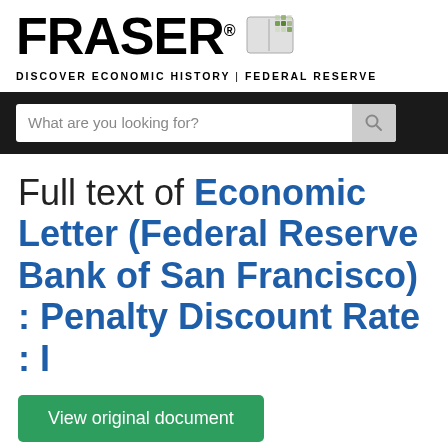[Figure (logo): FRASER logo with book icon and tagline 'DISCOVER ECONOMIC HISTORY | FEDERAL RESERVE']
Full text of Economic Letter (Federal Reserve Bank of San Francisco) : Penalty Discount Rate : I
View original document
The full text on this page is automatically extracted from the file linked above and may contain errors and